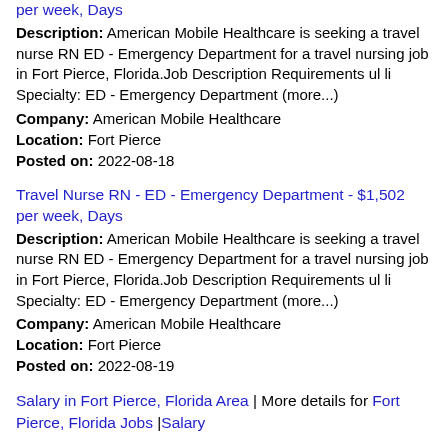per week, Days
Description: American Mobile Healthcare is seeking a travel nurse RN ED - Emergency Department for a travel nursing job in Fort Pierce, Florida.Job Description Requirements ul li Specialty: ED - Emergency Department (more...)
Company: American Mobile Healthcare
Location: Fort Pierce
Posted on: 2022-08-18
Travel Nurse RN - ED - Emergency Department - $1,502 per week, Days
Description: American Mobile Healthcare is seeking a travel nurse RN ED - Emergency Department for a travel nursing job in Fort Pierce, Florida.Job Description Requirements ul li Specialty: ED - Emergency Department (more...)
Company: American Mobile Healthcare
Location: Fort Pierce
Posted on: 2022-08-19
Salary in Fort Pierce, Florida Area | More details for Fort Pierce, Florida Jobs |Salary